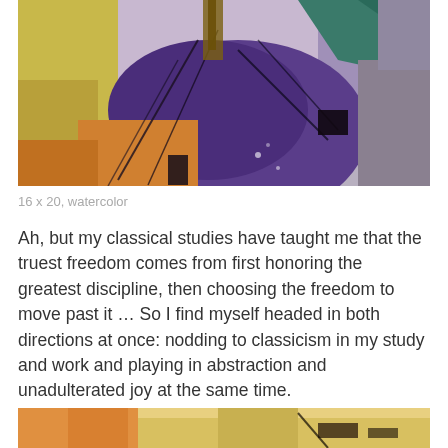[Figure (photo): Abstract watercolor painting with purple, yellow/gold, teal and grey tones, featuring bold brushstrokes and gestural marks]
16 x 20, watercolor
Ah, but my classical studies have taught me that the truest freedom comes from first honoring the greatest discipline, then choosing the freedom to move past it … So I find myself headed in both directions at once: nodding to classicism in my study and work and playing in abstraction and unadulterated joy at the same time.
[Figure (photo): Bottom portion of another abstract painting with warm yellow/orange and dark marks visible]